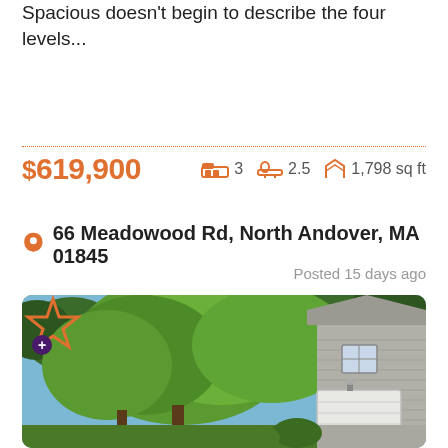Spacious doesn't begin to describe the four levels...
$619,900    3 bed   2.5 bath   1,798 sq ft
66 Meadowood Rd, North Andover, MA 01845
Posted 15 days ago
[Figure (photo): Exterior photo of a two-story gray sided home with attached garage, surrounded by large green trees, blue sky in background.]